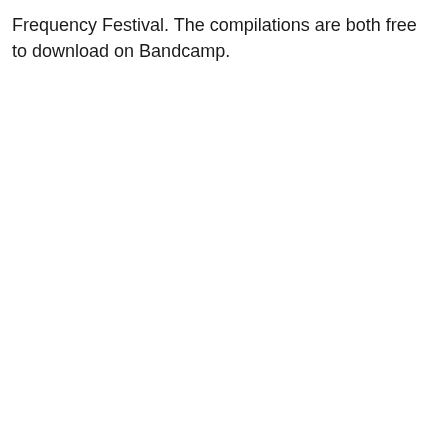Frequency Festival. The compilations are both free to download on Bandcamp.